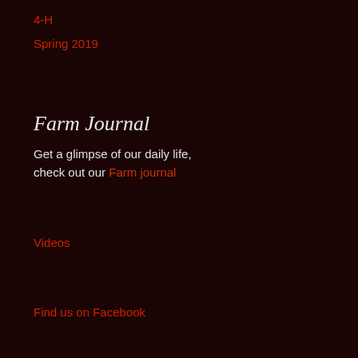4-H
Spring 2019
Farm Journal
Get a glimpse of our daily life, check out our Farm journal
Videos
Find us on Facebook